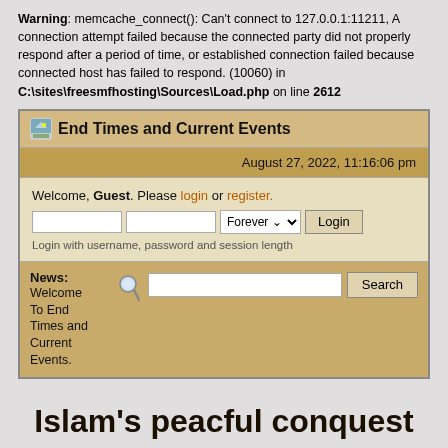Warning: memcache_connect(): Can't connect to 127.0.0.1:11211, A connection attempt failed because the connected party did not properly respond after a period of time, or established connection failed because connected host has failed to respond. (10060) in C:\sites\freesmfhosting\Sources\Load.php on line 2612
[Figure (screenshot): Forum login interface for 'End Times and Current Events' showing date August 27, 2022, 11:16:06 pm, a welcome guest message with login/register links, username and password input fields, Forever session dropdown, Login button, and a News section with search bar]
Islam's peacful conquest of Europe